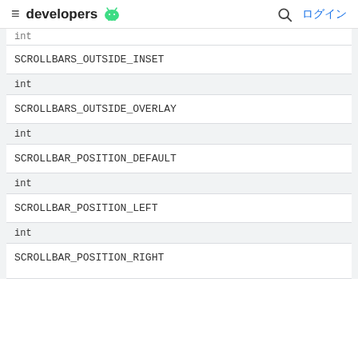≡ developers 🤖 🔍 ログイン
| int |  |
| SCROLLBARS_OUTSIDE_INSET |  |
| int |  |
| SCROLLBARS_OUTSIDE_OVERLAY |  |
| int |  |
| SCROLLBAR_POSITION_DEFAULT |  |
| int |  |
| SCROLLBAR_POSITION_LEFT |  |
| int |  |
| SCROLLBAR_POSITION_RIGHT |  |